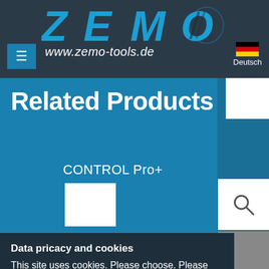[Figure (logo): ZEMO logo in bold blue italic letters on dark background]
www.zemo-tools.de
Deutsch
Related Products
CONTROL Pro+
[Figure (photo): White product image placeholder]
[Figure (screenshot): Search icon on white background]
Data pricacy and cookies
This site uses cookies. Please choose. Please specify which cookies you want to allow.
Continue
Details
ZEMO Vertriebs GmbH